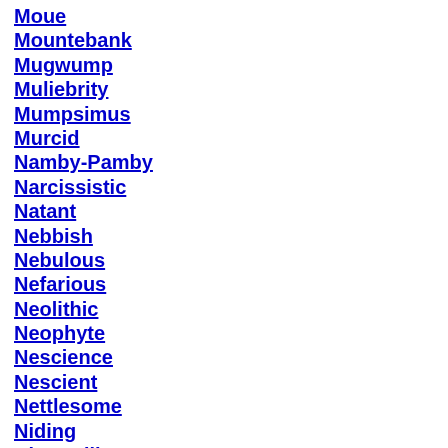Moue
Mountebank
Mugwump
Muliebrity
Mumpsimus
Murcid
Namby-Pamby
Narcissistic
Natant
Nebbish
Nebulous
Nefarious
Neolithic
Neophyte
Nescience
Nescient
Nettlesome
Niding
Niggardliness
Nigon
Nimiety
Nimrod
Nincompoop